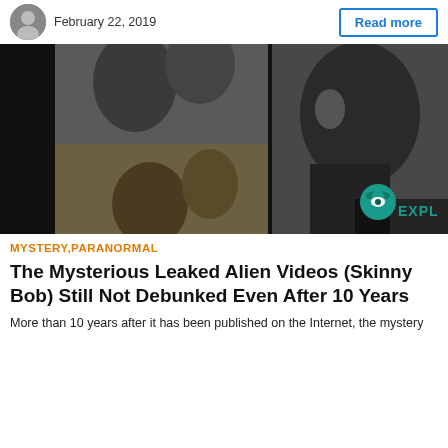February 22, 2019 | Read more
[Figure (photo): Grayscale collage-style image showing multiple views of a dark alien-like figure with large head, resembling frames from the 'Skinny Bob' UFO video. A cyan UFO logo and 'EXPL' watermark visible in bottom-right corner.]
MYSTERY,PARANORMAL
The Mysterious Leaked Alien Videos (Skinny Bob) Still Not Debunked Even After 10 Years
More than 10 years after it has been published on the Internet, the mystery